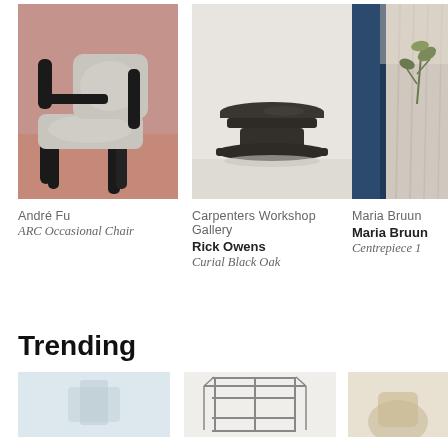[Figure (photo): Black sculptural chair with curved frame and light gray upholstered seat and back, on terracotta/reddish-brown floor]
André Fu
ARC Occasional Chair
[Figure (photo): Dark wooden stool with thick pedestal base on neutral gray surface]
Carpenters Workshop Gallery
Rick Owens
Curial Black Oak
[Figure (photo): Room interior with blue window frame, curtains, and plant, partial view]
Maria Bruun
Maria Bruun
Centrepiece 1
Trending
[Figure (photo): Light colored object on pale blue/white background, partial view at bottom]
[Figure (photo): Wire/metal shelving unit structure on white background, partial view at bottom]
[Figure (photo): Partial view of object on neutral background, cropped]